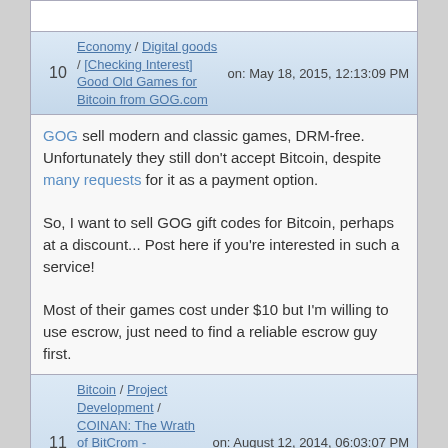| # | Topic/Title | Date |
| --- | --- | --- |
| 10 | Economy / Digital goods / [Checking Interest] Good Old Games for Bitcoin from GOG.com | on: May 18, 2015, 12:13:09 PM |
| 11 | Bitcoin / Project Development / COINAN: The Wrath of BitCrom - Blockchain-Powered Online Gamebook with Gambling | on: August 12, 2014, 06:03:07 PM |
GOG sell modern and classic games, DRM-free. Unfortunately they still don't accept Bitcoin, despite many requests for it as a payment option.

So, I want to sell GOG gift codes for Bitcoin, perhaps at a discount... Post here if you're interested in such a service!

Most of their games cost under $10 but I'm willing to use escrow, just need to find a reliable escrow guy first.